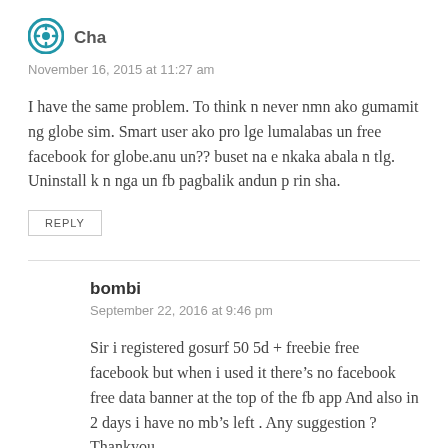Cha
November 16, 2015 at 11:27 am
I have the same problem. To think n never nmn ako gumamit ng globe sim. Smart user ako pro lge lumalabas un free facebook for globe.anu un?? buset na e nkaka abala n tlg. Uninstall k n nga un fb pagbalik andun p rin sha.
REPLY
bombi
September 22, 2016 at 9:46 pm
Sir i registered gosurf 50 5d + freebie free facebook but when i used it there’s no facebook free data banner at the top of the fb app And also in 2 days i have no mb’s left . Any suggestion ? Thankyou